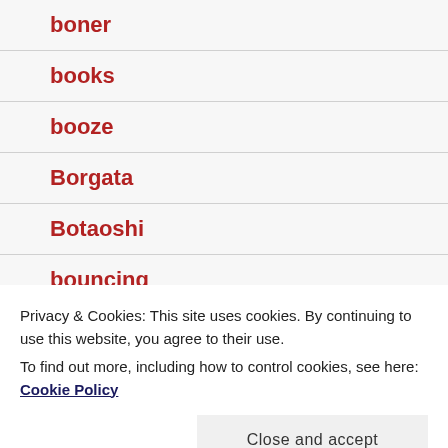boner
books
booze
Borgata
Botaoshi
bouncing
Privacy & Cookies: This site uses cookies. By continuing to use this website, you agree to their use.
To find out more, including how to control cookies, see here: Cookie Policy
bret michaels